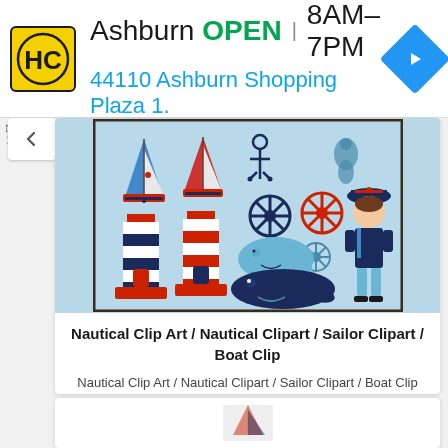[Figure (screenshot): Ad banner for HC (Heartland? Hardware?) store in Ashburn showing OPEN 8AM-7PM and address 44110 Ashburn Shopping Plaza 1.]
[Figure (illustration): Nautical clipart collection showing sailboats, anchors, lighthouses, whales, ship steering wheel, seahorse, and cartoon sailor boy on light blue background]
Nautical Clip Art / Nautical Clipart / Sailor Clipart / Boat Clip
Nautical Clip Art / Nautical Clipart / Sailor Clipart / Boat Clip Art / Ship Clipart / Whale Clip Art / Commercial & Personal
Laurie